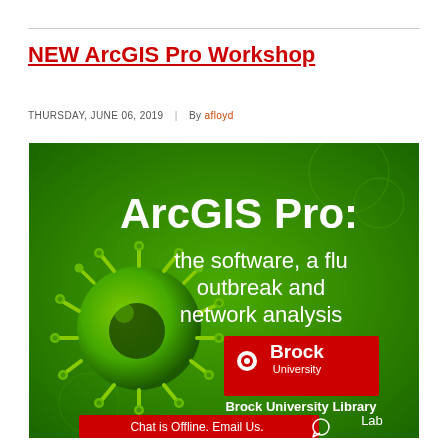NEW ArcGIS Pro Workshop
THURSDAY, JUNE 06, 2019  |  By afloyd
[Figure (illustration): Promotional banner for ArcGIS Pro Workshop at Brock University Library. Green background with a 3D rendered virus/coronavirus image on the left. White bold text reads 'ArcGIS Pro: the software, a flu outbreak and network analysis'. A red rectangle contains the Brock University logo and name. Below that: 'Brock University Library Lab'. At the bottom is a red bar with white text: 'Chat is Offline. Email Us.' with a speech bubble icon.]